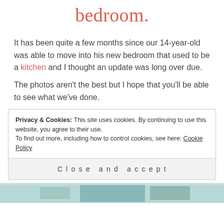bedroom.
It has been quite a few months since our 14-year-old was able to move into his new bedroom that used to be a kitchen and I thought an update was long over due.
The photos aren't the best but I hope that you'll be able to see what we've done.
Privacy & Cookies: This site uses cookies. By continuing to use this website, you agree to their use. To find out more, including how to control cookies, see here: Cookie Policy
Close and accept
[Figure (photo): Bottom strip showing a bedroom photo, teal/blue tones visible]